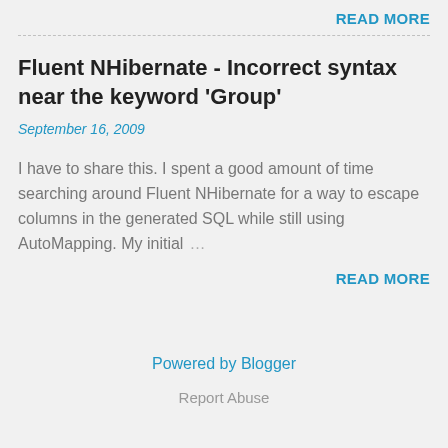READ MORE
Fluent NHibernate - Incorrect syntax near the keyword 'Group'
September 16, 2009
I have to share this. I spent a good amount of time searching around Fluent NHibernate for a way to escape columns in the generated SQL while still using AutoMapping. My initial …
READ MORE
Powered by Blogger
Report Abuse